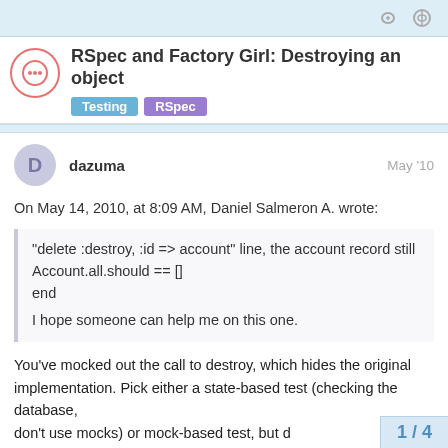RSpec and Factory Girl: Destroying an object
RSpec and Factory Girl: Destroying an object
Testing  RSpec
dazuma  May '10
On May 14, 2010, at 8:09 AM, Daniel Salmeron A. wrote:
“delete :destroy, :id => account” line, the account record still
Account.all.should == []
end

I hope someone can help me on this one.
You’ve mocked out the call to destroy, which hides the original implementation. Pick either a state-based test (checking the database,
don’t use mocks) or mock-based test, but d
1 / 4